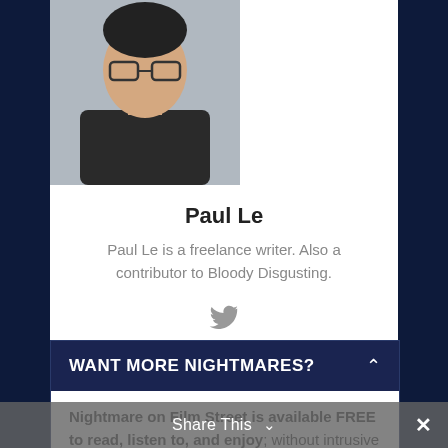[Figure (photo): Headshot photo of Paul Le, a young man with dark hair and glasses wearing a dark t-shirt]
Paul Le
Paul Le is a freelance writer. Also a contributor to Bloody Disgusting.
[Figure (logo): Twitter bird icon]
WANT MORE NIGHTMARES?
Nightmare on Film Street is available FREE to read, listen to, and enjoy; without intrusive blocks or limits. We are independently owned and operated.
Share This